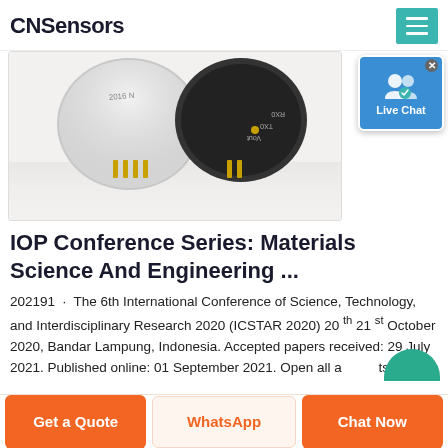CNSensors
[Figure (photo): Two electronic sensors/modules with gold pins on white background. One shows label '2016' and the other has labels 'RX0', 'TX0', 'Vout' on dark surface.]
[Figure (screenshot): Live Chat widget - blue rounded box with person/chat icon and 'Live Chat' text]
IOP Conference Series: Materials Science And Engineering ...
202191  ·  The 6th International Conference of Science, Technology, and Interdisciplinary Research 2020 (ICSTAR 2020) 20 th 21 st October 2020, Bandar Lampung, Indonesia. Accepted papers received: 29 July 2021. Published online: 01 September 2021. Open all a...ts.
Get a Quote | WhatsApp | Chat Now